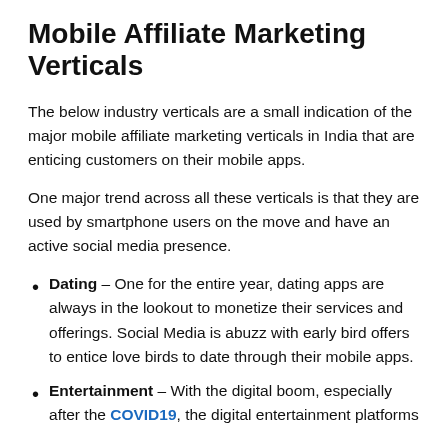Mobile Affiliate Marketing Verticals
The below industry verticals are a small indication of the major mobile affiliate marketing verticals in India that are enticing customers on their mobile apps.
One major trend across all these verticals is that they are used by smartphone users on the move and have an active social media presence.
Dating – One for the entire year, dating apps are always in the lookout to monetize their services and offerings. Social Media is abuzz with early bird offers to entice love birds to date through their mobile apps.
Entertainment – With the digital boom, especially after the COVID19, the digital entertainment platforms